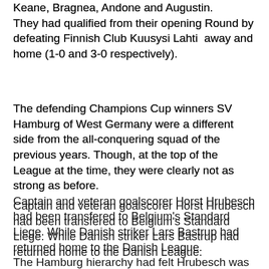Keane, Bragnea, Andone and Augustin. They had qualified from their opening Round by defeating Finnish Club Kuusysi Lahti away and home (1-0 and 3-0 respectively).
The defending Champions Cup winners SV Hamburg of West Germany were a different side from the all-conquering squad of the previous years. Though, at the top of the League at the time, they were clearly not as strong as before.
Captain and veteran goalscorer Horst Hrubesch had been transfered to Belgium's Standard Liege. While Danish striker Lars Bastrup had returned home to the Danish League.
The Hamburg hierarchy had felt Hrubesch was getting older and it was time for a younger replacement.
In their place, the Hamburg Management had acquired Dieter Schatzschneider and Wolfram Wuttke.